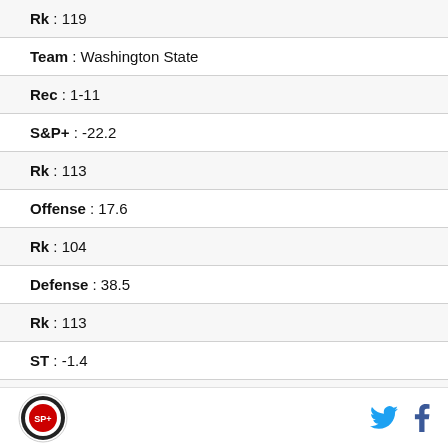| Rk : 119 |
| Team : Washington State |
| Rec : 1-11 |
| S&P+ : -22.2 |
| Rk : 113 |
| Offense : 17.6 |
| Rk : 104 |
| Defense : 38.5 |
| Rk : 113 |
| ST : -1.4 |
| Rk : 103 |